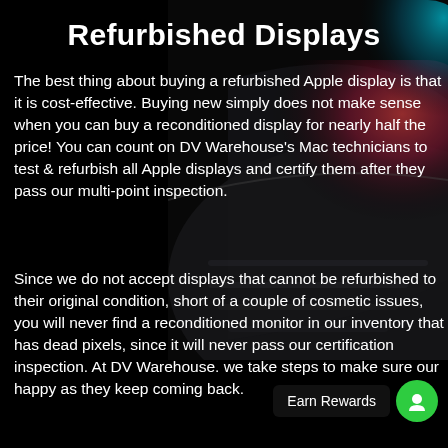Refurbished Displays
[Figure (photo): Apple MacBook laptop keyboard with colorful red and teal/blue light streaks, dark background, positioned on the right side of the page.]
The best thing about buying a refurbished Apple display is that it is cost-effective. Buying new simply does not make sense when you can buy a reconditioned display for nearly half the price! You can count on DV Warehouse’s Mac technicians to test & refurbish all Apple displays and certify them after they pass our multi-point inspection.
Since we do not accept displays that cannot be refurbished to their original condition, short of a couple of cosmetic issues, you will never find a reconditioned monitor in our inventory that has dead pixels, since it will never pass our certification inspection. At DV Warehouse. we take steps to make sure our happy as they keep coming back.